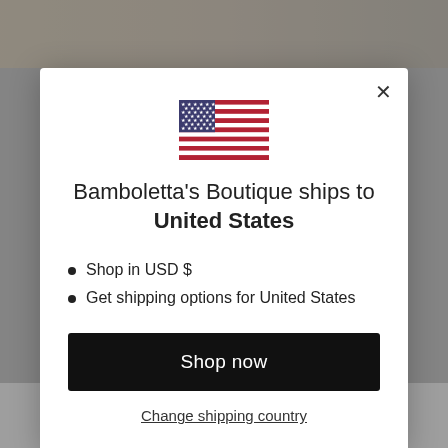[Figure (screenshot): Background of a shopping website showing product images dimmed behind a modal dialog]
[Figure (illustration): US flag SVG icon centered at top of modal]
Bamboletta's Boutique ships to United States
Shop in USD $
Get shipping options for United States
Shop now
Change shipping country
DREW TRACKSUIT- DEEP NAVY | EXCAVATOR HOODIE $34.95